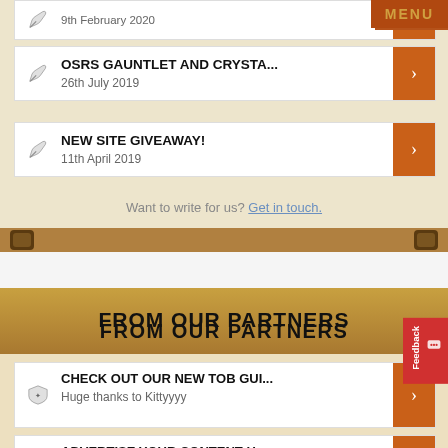MENU
OSRS GAUNTLET AND CRYSTA...
26th July 2019
NEW SITE GIVEAWAY!
11th April 2019
Want to write for us? Get in touch.
FROM OUR PARTNERS
CHECK OUT OUR NEW TOB GUI...
Huge thanks to Kittyyyy
ADVERTISE YOUR CONTENT H...
Get in touch!
ADVERTISE YOUR CONTENT H...
Get in touch!